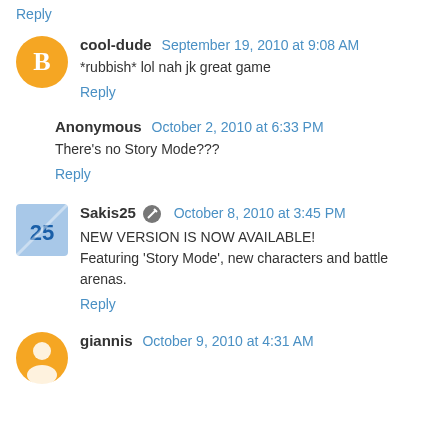Reply
cool-dude  September 19, 2010 at 9:08 AM
*rubbish* lol nah jk great game
Reply
Anonymous  October 2, 2010 at 6:33 PM
There's no Story Mode???
Reply
Sakis25  October 8, 2010 at 3:45 PM
NEW VERSION IS NOW AVAILABLE!
Featuring 'Story Mode', new characters and battle arenas.
Reply
giannis  October 9, 2010 at 4:31 AM